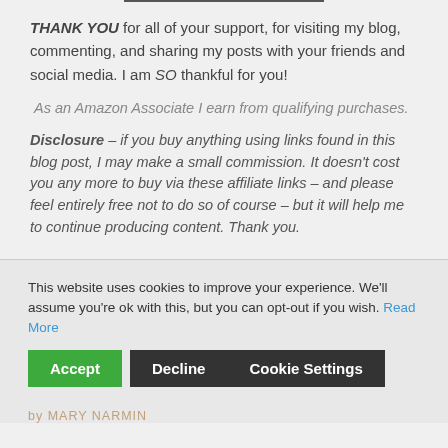THANK YOU for all of your support, for visiting my blog, commenting, and sharing my posts with your friends and social media. I am SO thankful for you!
As an Amazon Associate I earn from qualifying purchases.
Disclosure – if you buy anything using links found in this blog post, I may make a small commission. It doesn't cost you any more to buy via these affiliate links – and please feel entirely free not to do so of course – but it will help me to continue producing content. Thank you.
This website uses cookies to improve your experience. We'll assume you're ok with this, but you can opt-out if you wish. Read More
Accept   Decline   Cookie Settings
by MARY NARMIN